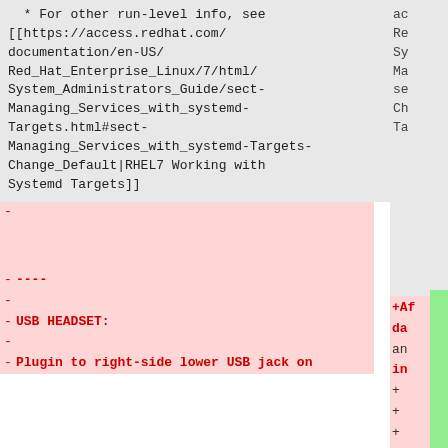* For other run-level info, see [[https://access.redhat.com/documentation/en-US/Red_Hat_Enterprise_Linux/7/html/System_Administrators_Guide/sect-Managing_Services_with_systemd-Targets.html#sect-Managing_Services_with_systemd-Targets-Change_Default|RHEL7 Working with Systemd Targets]]
- (diff removed lines, empty)
- ----
- (empty)
- USB HEADSET:
- (empty)
- Plugin to right-side lower USB jack on